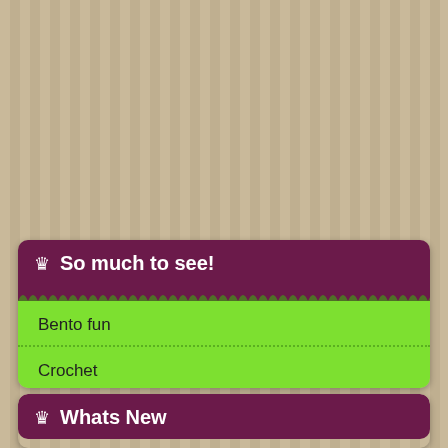So much to see!
Bento fun
Crochet
Everything else...under the Skye :P
Fellow Crafters
What's Cookin Good Lookin
Whats New